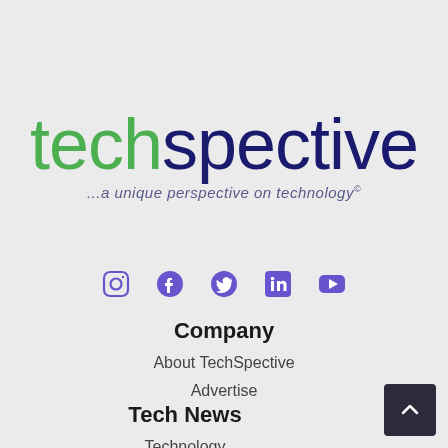[Figure (logo): TechSpective logo — 'tech' in green, 'spective' in dark navy, tagline '...a unique perspective on technology©' in italic purple-grey below]
[Figure (infographic): Row of 5 social media icons in purple: Instagram, Facebook, Twitter, LinkedIn, YouTube]
Company
About TechSpective
Advertise
Tech News
Technology